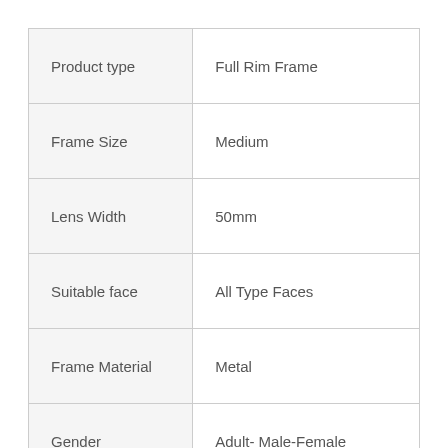|  |  |
| --- | --- |
| Product type | Full Rim Frame |
| Frame Size | Medium |
| Lens Width | 50mm |
| Suitable face | All Type Faces |
| Frame Material | Metal |
| Gender | Adult- Male-Female |
| Front Colour | Black |
|  |  |